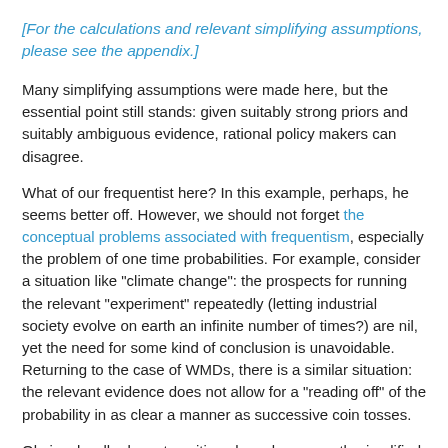[For the calculations and relevant simplifying assumptions, please see the appendix.]
Many simplifying assumptions were made here, but the essential point still stands: given suitably strong priors and suitably ambiguous evidence, rational policy makers can disagree.
What of our frequentist here? In this example, perhaps, he seems better off. However, we should not forget the conceptual problems associated with frequentism, especially the problem of one time probabilities. For example, consider a situation like "climate change": the prospects for running the relevant "experiment" repeatedly (letting industrial society evolve on earth an infinite number of times?) are nil, yet the need for some kind of conclusion is unavoidable. Returning to the case of WMDs, there is a similar situation: the relevant evidence does not allow for a "reading off" of the probability in as clear a manner as successive coin tosses.
Obviously, all relevant positions have been greatly simplified. The essential point to make here is that with all opinions...